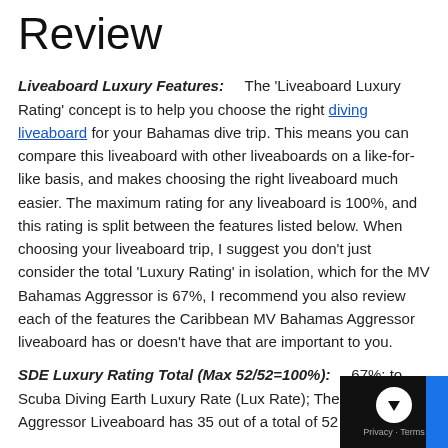Review
Liveaboard Luxury Features: The 'Liveaboard Luxury Rating' concept is to help you choose the right diving liveaboard for your Bahamas dive trip. This means you can compare this liveaboard with other liveaboards on a like-for-like basis, and makes choosing the right liveaboard much easier. The maximum rating for any liveaboard is 100%, and this rating is split between the features listed below. When choosing your liveaboard trip, I suggest you don't just consider the total 'Luxury Rating' in isolation, which for the MV Bahamas Aggressor is 67%, I recommend you also review each of the features the Caribbean MV Bahamas Aggressor liveaboard has or doesn't have that are important to you.
SDE Luxury Rating Total (Max 52/52=100%): 67%; to Scuba Diving Earth Luxury Rate (Lux Rate); The MV Bahamas Aggressor Liveaboard has 35 out of a total of 52 (i.e. 67%)